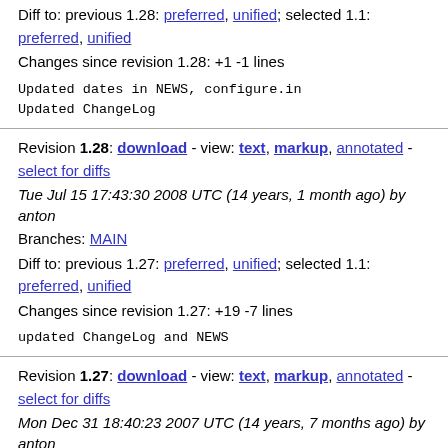Diff to: previous 1.28: preferred, unified; selected 1.1: preferred, unified
Changes since revision 1.28: +1 -1 lines
Updated dates in NEWS, configure.in
Updated ChangeLog
Revision 1.28: download - view: text, markup, annotated - select for diffs
Tue Jul 15 17:43:30 2008 UTC (14 years, 1 month ago) by anton
Branches: MAIN
Diff to: previous 1.27: preferred, unified; selected 1.1: preferred, unified
Changes since revision 1.27: +19 -7 lines
updated ChangeLog and NEWS
Revision 1.27: download - view: text, markup, annotated - select for diffs
Mon Dec 31 18:40:23 2007 UTC (14 years, 7 months ago) by anton
Branches: MAIN
Diff to: previous 1.26: preferred, unified; selected 1.1: preferred, unified
Changes since revision 1.26: +2 -3 lines
updated copyright notices for GPL v3